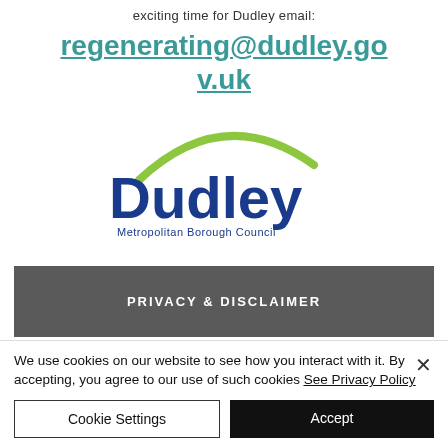exciting time for Dudley email:
regenerating@dudley.gov.uk
[Figure (logo): Dudley Metropolitan Borough Council logo with green arc above blue text]
PRIVACY & DISCLAIMER
We use cookies on our website to see how you interact with it. By accepting, you agree to our use of such cookies See Privacy Policy
Cookie Settings
Accept